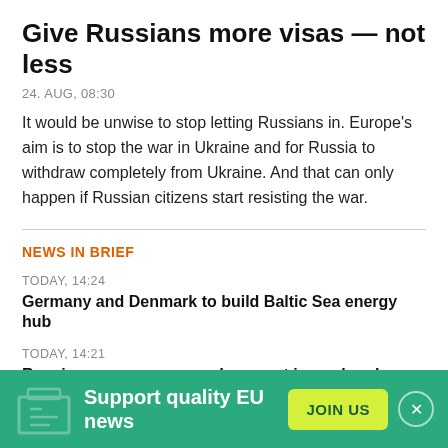Give Russians more visas — not less
24. AUG, 08:30
It would be unwise to stop letting Russians in. Europe's aim is to stop the war in Ukraine and for Russia to withdraw completely from Ukraine. And that can only happen if Russian citizens start resisting the war.
NEWS IN BRIEF
TODAY, 14:24
Germany and Denmark to build Baltic Sea energy hub
TODAY, 14:21
Russia announces second suspect in car-bomb killing
TODAY, 14:17
Support quality EU news
JOIN US